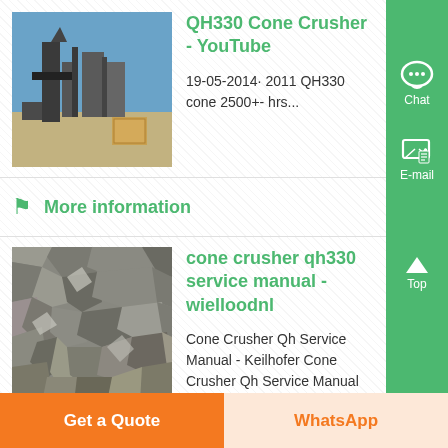[Figure (photo): Photo of a cone crusher machine outdoors with blue sky background]
QH330 Cone Crusher - YouTube
19-05-2014· 2011 QH330 cone 2500+- hrs...
More information
[Figure (photo): Photo of crushed rock/gravel material close-up]
cone crusher qh330 service manual - wielloodnl
Cone Crusher Qh Service Manual - Keilhofer Cone Crusher Qh Service Manual qh331 cone crusher unit in action technical specification sheet d 331 mobile cone crusher in the